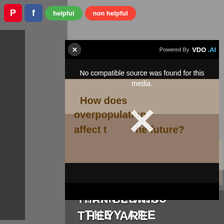[Figure (screenshot): Screenshot of a webpage showing social sharing buttons (Pinterest, Facebook), helpful/non-helpful buttons, and a video player overlay with 'No compatible source was found for this media.' message and a close button, powered by VDO.AI. Behind the popup is a grayscale background image with text 'How does overpopulation affect the future?' and at the bottom 'THAN BE WHO THEY ARE'.]
No compatible source was found for this media.
Powered By VDO.AI
THAN BE WHO
THEY ARE